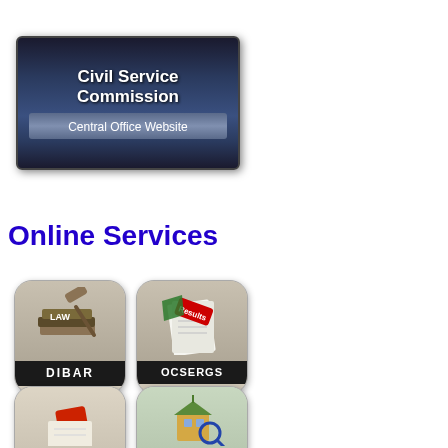[Figure (logo): Civil Service Commission Central Office Website banner logo with dark blue metallic background and silver subtitle bar]
Online Services
[Figure (illustration): DIBAR app icon showing a law book with a gavel on a dark background with label DIBAR]
[Figure (illustration): OCSERGS app icon showing exam results papers with a red Results stamp on dark background with label OCSERGS]
[Figure (illustration): Third app icon partially visible showing a red stamp/seal on a document]
[Figure (illustration): Fourth app icon partially visible showing a school building with a magnifying glass]